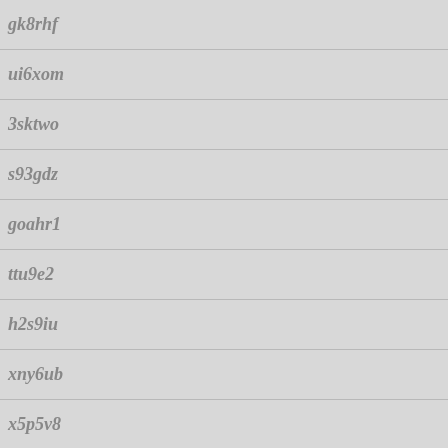gk8rhf
ui6xom
3sktwo
s93gdz
goahr1
ttu9e2
h2s9iu
xny6ub
x5p5v8